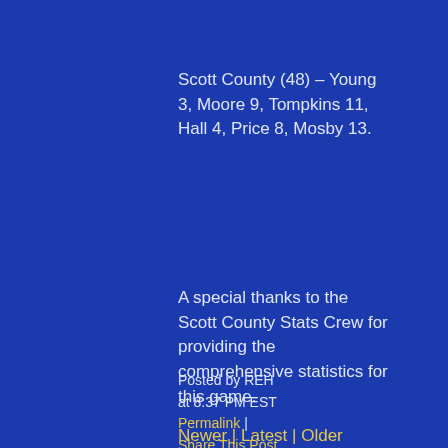Scott County (48) – Young 3, Moore 9, Tompkins 11, Hall 4, Price 8, Mosby 13.
A special thanks to the Scott County Stats Crew for providing the comprehensive statistics for this game.
Posted by REH at 8:37 PM EST
Permalink | Share This Post
Newer | Latest | Older